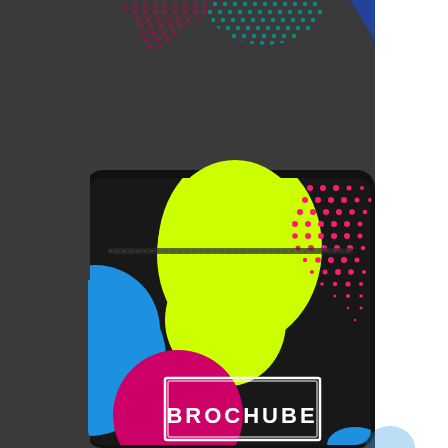[Figure (illustration): Product mockup of a black stand-up pouch/coffee bag with colorful graphic design elements: a blue circle on the left side, a large neon yellow-green teardrop/blob shape in the upper center, a pattern of pink/magenta dots in the upper right corner, a magenta/pink circle in the lower center-left, a small blue shape in the lower right. A white-bordered rectangular label reads 'BROCHUBE' in white bold letters. The background behind the bag is dark gray. In the top portion of the image, decorative design elements are visible: a dark magenta dotted triangle shape on the left, a teal/green dotted semicircle in the center, and a dark blue geometric triangle on the right, all on a light gray/white background strip.]